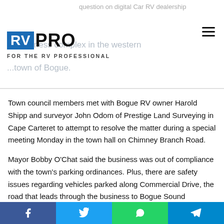RV PRO — FOR THE RV PROFESSIONAL
Town council members met with Bogue RV owner Harold Shipp and surveyor John Odom of Prestige Land Surveying in Cape Carteret to attempt to resolve the matter during a special meeting Monday in the town hall on Chimney Branch Road.
Mayor Bobby O'Chat said the business was out of compliance with the town's parking ordinances. Plus, there are safety issues regarding vehicles parked along Commercial Drive, the road that leads through the business to Bogue Sound Distillery, blocking the road in the event of an emergency.
“We need to make sure the road is accessible to emergency